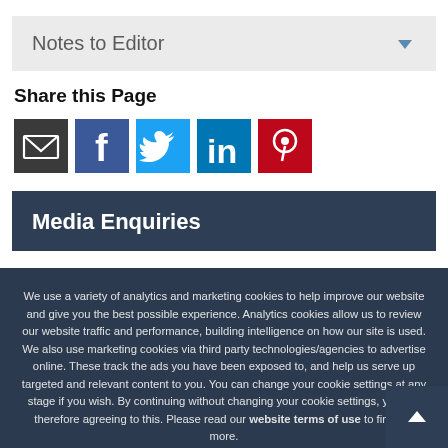Notes to Editor
Share this Page
[Figure (infographic): Row of social sharing icons: Email (dark), Facebook (blue), Twitter (light blue), LinkedIn (blue), Pinterest (red)]
Media Enquiries
We use a variety of analytics and marketing cookies to help improve our website and give you the best possible experience. Analytics cookies allow us to review our website traffic and performance, building intelligence on how our site is used. We also use marketing cookies via third party technologies/agencies to advertise online. These track the ads you have been exposed to, and help us serve up targeted and relevant content to you. You can change your cookie settings at any stage if you wish. By continuing without changing your cookie settings, you are therefore agreeing to this. Please read our website terms of use to find out more.
I Accept